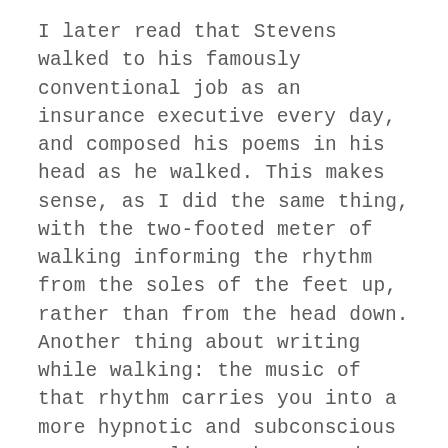I later read that Stevens walked to his famously conventional job as an insurance executive every day, and composed his poems in his head as he walked. This makes sense, as I did the same thing, with the two-footed meter of walking informing the rhythm from the soles of the feet up, rather than from the head down. Another thing about writing while walking: the music of that rhythm carries you into a more hypnotic and subconscious space were lines that sound good and fit to the beat are carried and held into memory more than carefully considered phrases that one would compose at the keyboard or with thoughtful pen in hand—and that same flow can knit together the unlike before thought can reject it.
If not to be Stevens-devotional, you can get it to hold...